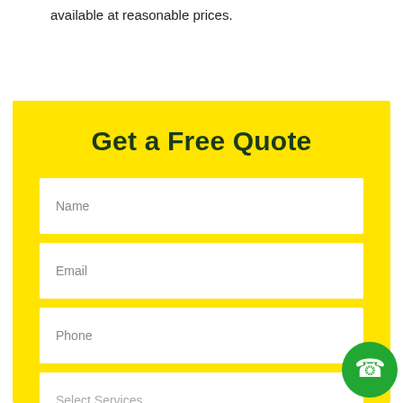available at reasonable prices.
Get a Free Quote
Name
Email
Phone
Select Services
[Figure (illustration): Green circle phone icon button in bottom right corner]